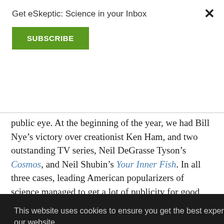Get eSkeptic: Science in your Inbox
SUBSCRIBE
public eye. At the beginning of the year, we had Bill Nye’s victory over creationist Ken Ham, and two outstanding TV series, Neil DeGrasse Tyson’s Cosmos, and Neil Shubin’s Your Inner Fish. In all three cases, leading American popularizers of science managed to get a lot of publicity for good science. They also were… orms of …e media …very and …out living …and even a …m—then
This website uses cookies to ensure you get the best experience on our website.
Learn more.
GOT IT!
reneging). Now the year is coming to an end with two